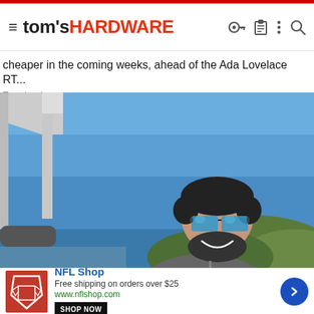tom's HARDWARE
cheaper in the coming weeks, ahead of the Ada Lovelace RT...
Tomshardware
[Figure (photo): A smiling man with sunglasses and a beard on a boat, wearing a gray zip-up jacket, with a blue sky and forested hills in the background.]
NFL Shop
Free shipping on orders over $25
www.nflshop.com
SHOP NOW